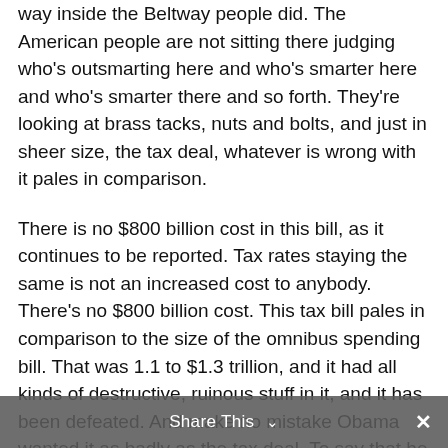way inside the Beltway people did. The American people are not sitting there judging who's outsmarting here and who's smarter here and who's smarter there and so forth. They're looking at brass tacks, nuts and bolts, and just in sheer size, the tax deal, whatever is wrong with it pales in comparison.
There is no $800 billion cost in this bill, as it continues to be reported. Tax rates staying the same is not an increased cost to anybody. There's no $800 billion cost. This tax bill pales in comparison to the size of the omnibus spending bill. That was 1.1 to $1.3 trillion, and it had all kinds of destructive, ruinous stuff in it, and it has been defeated. And make no mistake Obama wanted it as badly as the tax deal. To say that he was detached from it, that he had nothing to do with it, that it was Harry Reid's deal, don't buy that. I think if you look at the chorus, Obama's chorus, the Drive-By Media, State-Controlled Media, the very fact that they're paying hardly any attention to the omnibus going down – how about this headline, by the way? This is laughable. The AP: 'Bill
Share This